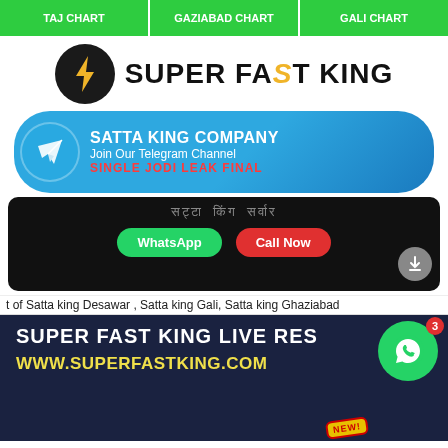TAJ CHART | GAZIABAD CHART | GALI CHART
[Figure (logo): Super Fast King logo with lightning bolt icon and text]
[Figure (infographic): Telegram channel promotional banner for Satta King Company - Single Jodi Leak Final]
[Figure (infographic): Dark contact box with Hindi text, WhatsApp and Call Now buttons]
t of Satta king Desawar , Satta king Gali, Satta king Ghaziabad
SUPER FAST KING LIVE RES
WWW.SUPERFASTKING.COM